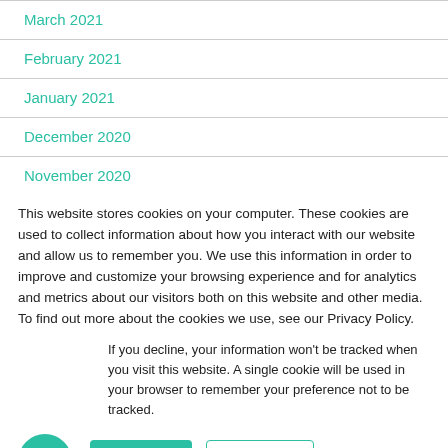March 2021
February 2021
January 2021
December 2020
November 2020
This website stores cookies on your computer. These cookies are used to collect information about how you interact with our website and allow us to remember you. We use this information in order to improve and customize your browsing experience and for analytics and metrics about our visitors both on this website and other media. To find out more about the cookies we use, see our Privacy Policy.
If you decline, your information won’t be tracked when you visit this website. A single cookie will be used in your browser to remember your preference not to be tracked.